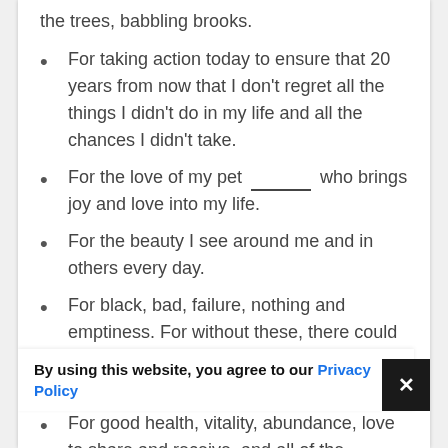the trees, babbling brooks.
For taking action today to ensure that 20 years from now that I don't regret all the things I didn't do in my life and all the chances I didn't take.
For the love of my pet _______ who brings joy and love into my life.
For the beauty I see around me and in others every day.
For black, bad, failure, nothing and emptiness. For without these, there could be no white, good, success, everything and love.
For good health, vitality, abundance, love to share and receive, and all of the opportunities life...
By using this website, you agree to our Privacy Policy